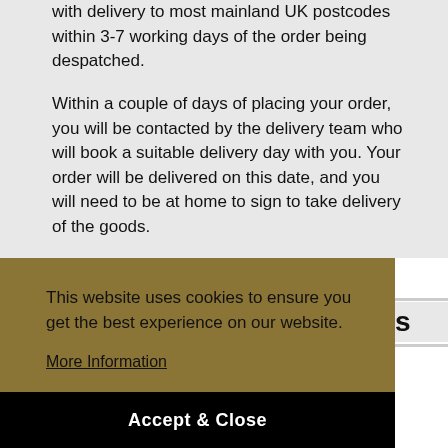with delivery to most mainland UK postcodes within 3-7 working days of the order being despatched.
Within a couple of days of placing your order, you will be contacted by the delivery team who will book a suitable delivery day with you. Your order will be delivered on this date, and you will need to be at home to sign to take delivery of the goods.
Read More
This website uses cookies to ensure you get the best experience on our website.
More Information
Accept & Close